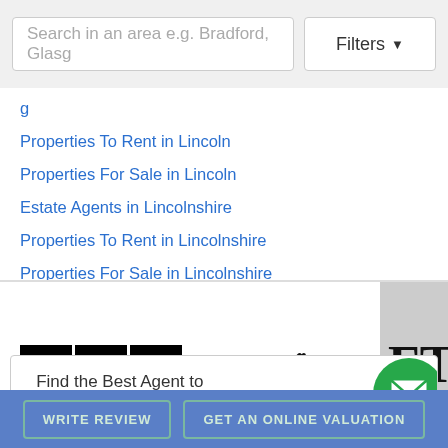[Figure (screenshot): Search bar with placeholder text 'Search in an area e.g. Bradford, Glasg' and a Filters button with dropdown arrow]
(partial link - truncated at top)
Properties To Rent in Lincoln
Properties For Sale in Lincoln
Estate Agents in Lincolnshire
Properties To Rent in Lincolnshire
Properties For Sale in Lincolnshire
[Figure (logo): BBC logo in black squares, Daily Mail logo in serif italic font, FT logo partially visible]
Find the Best Agent to Sell or Rent Your Home
WRITE REVIEW   GET AN ONLINE VALUATION